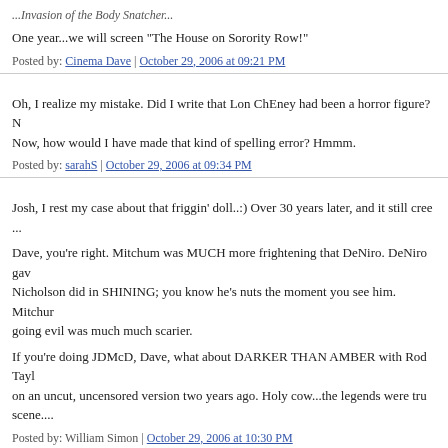One year...we will screen "The House on Sorority Row!"
Posted by: Cinema Dave | October 29, 2006 at 09:21 PM
Oh, I realize my mistake. Did I write that Lon ChEney had been a horror figure? Now, how would I have made that kind of spelling error? Hmmm.
Posted by: sarahS | October 29, 2006 at 09:34 PM
Josh, I rest my case about that friggin' doll..:) Over 30 years later, and it still cree...
Dave, you're right. Mitchum was MUCH more frightening that DeNiro. DeNiro gave Nicholson did in SHINING; you know he's nuts the moment you see him. Mitchum going evil was much much scarier.
If you're doing JDMcD, Dave, what about DARKER THAN AMBER with Rod Tayl... on an uncut, uncensored version two years ago. Holy cow...the legends were tru... scene....
Posted by: William Simon | October 29, 2006 at 10:30 PM
The comments to this entry are closed.